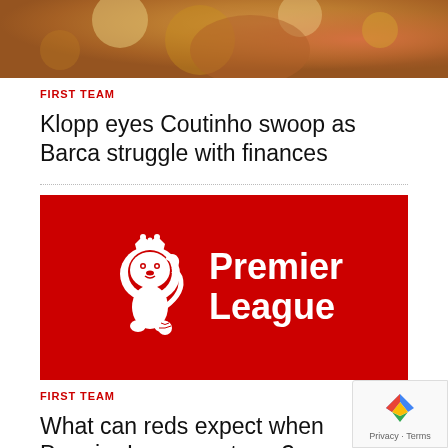[Figure (photo): Top portion of a sports photo with warm orange/golden bokeh tones, partial view of player]
FIRST TEAM
Klopp eyes Coutinho swoop as Barca struggle with finances
[Figure (logo): Premier League logo on red background — white lion crest and white 'Premier League' text]
FIRST TEAM
What can reds expect when Premier League returns?